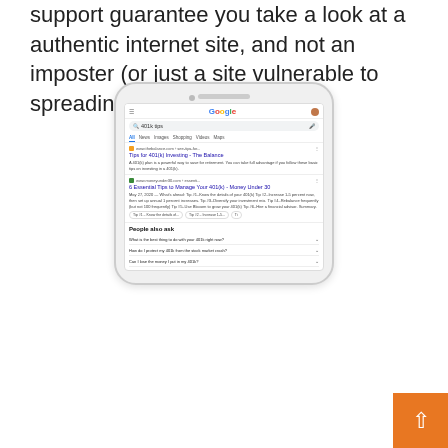support guarantee you take a look at a authentic internet site, and not an imposter (or just a site vulnerable to spreading misinformation).
[Figure (screenshot): A smartphone displaying a Google search results page for '401k tips', showing search results including 'Tips for 401(k) Investing - The Balance' and '6 Essential Tips to Manage Your 401(k) - Money Under 30', plus a 'People also ask' section with questions about 401k.]